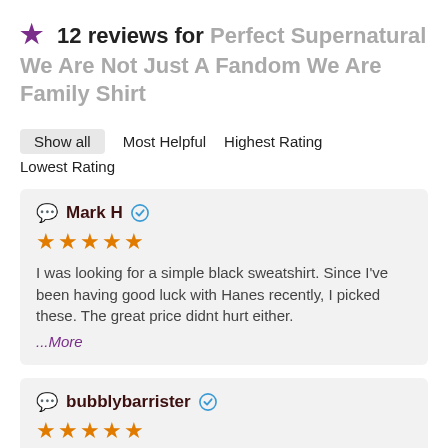12 reviews for Perfect Supernatural We Are Not Just A Fandom We Are Family Shirt
Show all
Most Helpful
Highest Rating
Lowest Rating
Mark H — verified — ★★★★★ — I was looking for a simple black sweatshirt. Since I've been having good luck with Hanes recently, I picked these. The great price didnt hurt either. ...More
bubblybarrister — verified — ★★★★★ — I recently moved to where the air hurts my face (and the rest of my body). I bought this sweatshirt f...